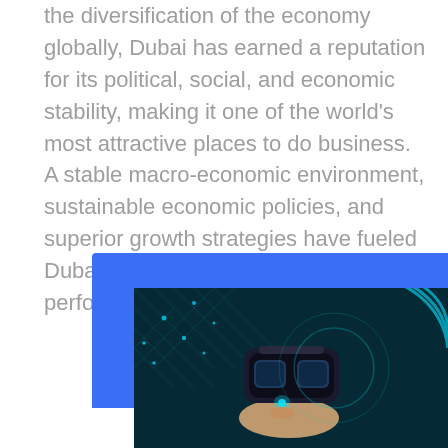the diversification of the economy globally, Dubai has earned a reputation for its political, social, and economic stability, making it one of the world's most attractive places to do business. A stable macro-economic environment, sustainable economic policies, and superior growth strategies have fueled Dubai's outstanding economic performance and diversification.
[Figure (photo): A person holding a VR (virtual reality) headset against a dark teal digital/technological background with network nodes and geometric patterns. A blue rectangular banner appears behind the photo.]